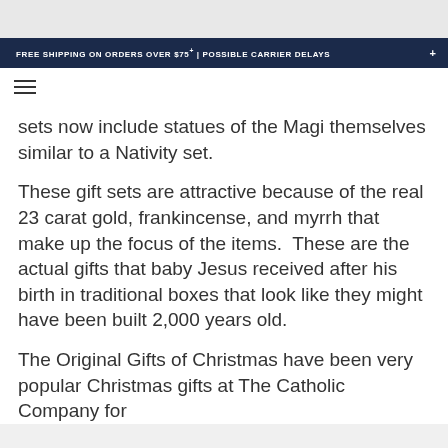FREE SHIPPING ON ORDERS OVER $75+ | POSSIBLE CARRIER DELAYS +
sets now include statues of the Magi themselves similar to a Nativity set.
These gift sets are attractive because of the real 23 carat gold, frankincense, and myrrh that make up the focus of the items.  These are the actual gifts that baby Jesus received after his birth in traditional boxes that look like they might have been built 2,000 years old.
The Original Gifts of Christmas have been very popular Christmas gifts at The Catholic Company for